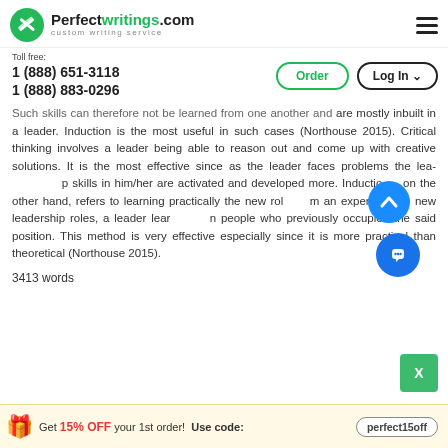Perfectwritings.com — custom writing service
Toll free:
1 (888) 651-3118
1 (888) 883-0296
Such skills can therefore not be learned from one another and are mostly inbuilt in a leader. Induction is the most useful in such cases (Northouse 2015). Critical thinking involves a leader being able to reason out and come up with creative solutions. It is the most effective since as the leader faces problems the leadership skills in him/her are activated and developed more. Induction, on the other hand, refers to learning practically the new roles from an expert. In the new leadership roles, a leader learns from people who previously occupied the said position. This method is very effective especially since it is more practical than theoretical (Northouse 2015).
3413 words
Get 15% OFF your 1st order!  Use code:  perfect15off